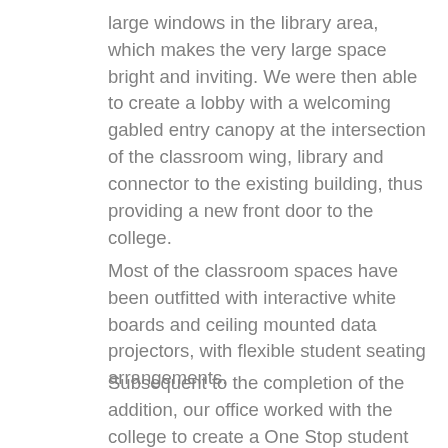large windows in the library area, which makes the very large space bright and inviting. We were then able to create a lobby with a welcoming gabled entry canopy at the intersection of the classroom wing, library and connector to the existing building, thus providing a new front door to the college.
Most of the classroom spaces have been outfitted with interactive white boards and ceiling mounted data projectors, with flexible student seating arrangements.
Subsequent to the completion of the addition, our office worked with the college to create a One Stop student services area from the old library area. We overcame the restrictions